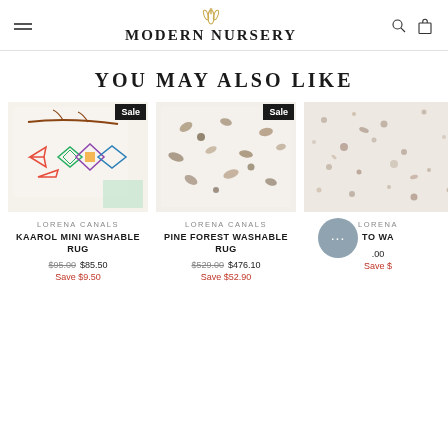MODERN NURSERY
YOU MAY ALSO LIKE
[Figure (photo): Lorena Canals Kaarol Mini Washable Rug with geometric diamond and arrow pattern on cream background, Sale badge]
LORENA CANALS
KAAROL MINI WASHABLE RUG
$95.00 $85.50
Save $9.50
[Figure (photo): Lorena Canals Pine Forest Washable Rug with leaf print pattern on cream background, Sale badge]
LORENA CANALS
PINE FOREST WASHABLE RUG
$529.00 $476.10
Save $52.90
[Figure (photo): Lorena Canals rug with speckled/terrazzo pattern on cream background, partially cropped]
LORENA
[TO WA...]
[...].00
Save $[...]